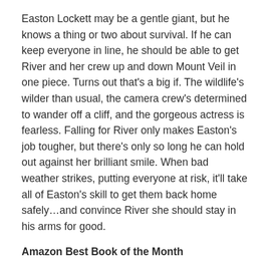Easton Lockett may be a gentle giant, but he knows a thing or two about survival. If he can keep everyone in line, he should be able to get River and her crew up and down Mount Veil in one piece. Turns out that's a big if. The wildlife's wilder than usual, the camera crew's determined to wander off a cliff, and the gorgeous actress is fearless. Falling for River only makes Easton's job tougher, but there's only so long he can hold out against her brilliant smile. When bad weather strikes, putting everyone at risk, it'll take all of Easton's skill to get them back home safely…and convince River she should stay in his arms for good.
Amazon Best Book of the Month
Learn more about Moose Springs at:
www.sarahmorgenthaler.com